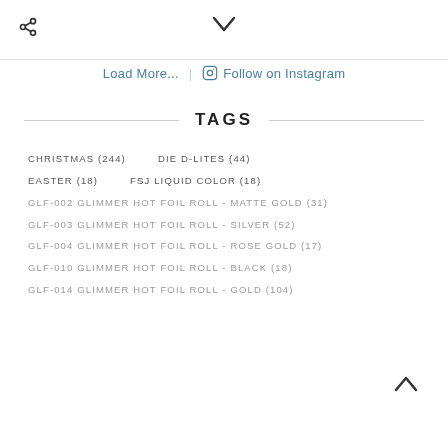< share icon | chevron down
Load More... | Follow on Instagram
TAGS
CHRISTMAS (244)
DIE D-LITES (44)
EASTER (18)
FSJ LIQUID COLOR (18)
GLF-002 GLIMMER HOT FOIL ROLL - MATTE GOLD (31)
GLF-003 GLIMMER HOT FOIL ROLL - SILVER (52)
GLF-004 GLIMMER HOT FOIL ROLL - ROSE GOLD (17)
GLF-010 GLIMMER HOT FOIL ROLL - BLACK (18)
GLF-014 GLIMMER HOT FOIL ROLL - GOLD (104)